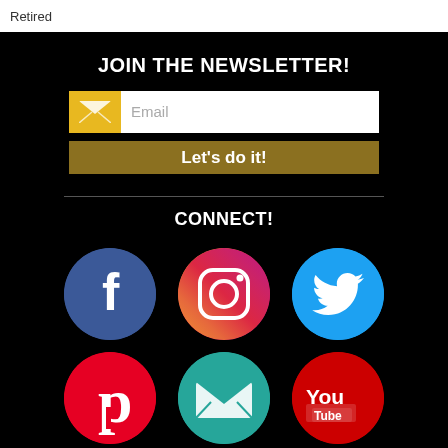Retired
JOIN THE NEWSLETTER!
Email (input field)
Let's do it!
CONNECT!
[Figure (infographic): Social media icons row 1: Facebook, Instagram, Twitter circles]
[Figure (infographic): Social media icons row 2: Pinterest, Email/Mail, YouTube circles (partially visible)]